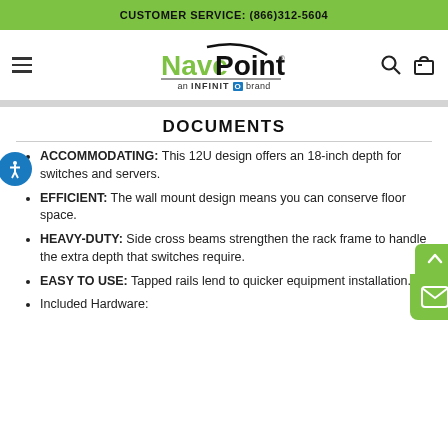CUSTOMER SERVICE: (866)312-5604
[Figure (logo): NavePoint logo with hamburger menu, search and cart icons]
DOCUMENTS
ACCOMMODATING: This 12U design offers an 18-inch depth for switches and servers.
EFFICIENT: The wall mount design means you can conserve floor space.
HEAVY-DUTY: Side cross beams strengthen the rack frame to handle the extra depth that switches require.
EASY TO USE: Tapped rails lend to quicker equipment installation.
Included Hardware: